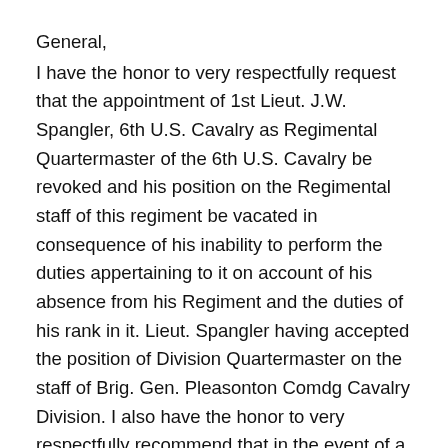General,
I have the honor to very respectfully request that the appointment of 1st Lieut. J.W. Spangler, 6th U.S. Cavalry as Regimental Quartermaster of the 6th U.S. Cavalry be revoked and his position on the Regimental staff of this regiment be vacated in consequence of his inability to perform the duties appertaining to it on account of his absence from his Regiment and the duties of his rank in it. Lieut. Spangler having accepted the position of Division Quartermaster on the staff of Brig. Gen. Pleasonton Comdg Cavalry Division. I also have the honor to very respectfully recommend that in the event of a favorable consideration of the above recommendation Lieut. John A. Irwin of the 6th U.S. Cavalry be appointed Regimental Quartermaster of the 6th U.S. Cavalry.
This regiment from recent recruitment is nearly full